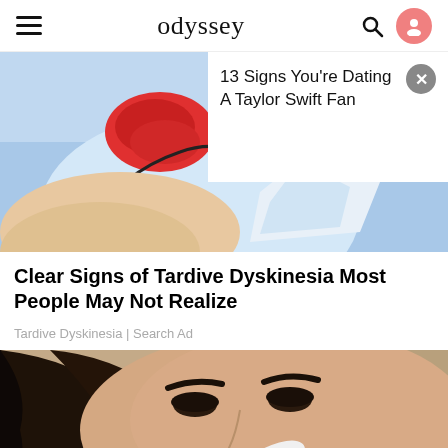odyssey
[Figure (illustration): Illustrated medical/anatomical image with blue and red tones showing a close-up of a face/throat area, with a white overlay popup ad on the right side reading '13 Signs You're Dating A Taylor Swift Fan' with a close X button]
Clear Signs of Tardive Dyskinesia Most People May Not Realize
Tardive Dyskinesia | Search Ad
[Figure (photo): Close-up photo of a young woman with dark hair applying something white (cotton pad or product) near her nose/eye area, warm beige background]